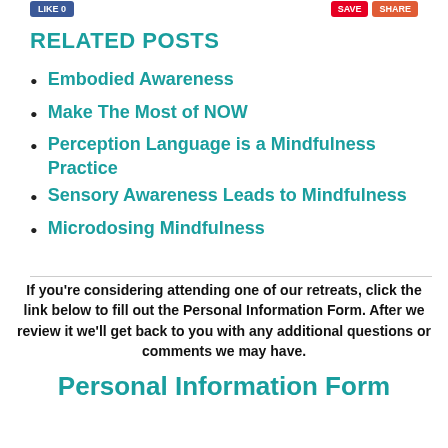RELATED POSTS
Embodied Awareness
Make The Most of NOW
Perception Language is a Mindfulness Practice
Sensory Awareness Leads to Mindfulness
Microdosing Mindfulness
If you're considering attending one of our retreats, click the link below to fill out the Personal Information Form. After we review it we'll get back to you with any additional questions or comments we may have.
Personal Information Form